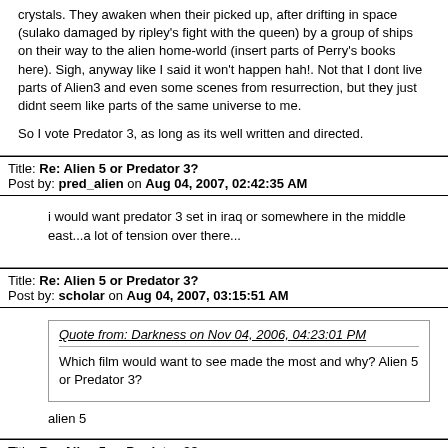crystals. They awaken when their picked up, after drifting in space (sulako damaged by ripley's fight with the queen) by a group of ships on their way to the alien home-world (insert parts of Perry's books here). Sigh, anyway like I said it won't happen hah!. Not that I dont live parts of Alien3 and even some scenes from resurrection, but they just didnt seem like parts of the same universe to me.
So I vote Predator 3, as long as its well written and directed.
Title: Re: Alien 5 or Predator 3?
Post by: pred_alien on Aug 04, 2007, 02:42:35 AM
i would want predator 3 set in iraq or somewhere in the middle east...a lot of tension over there...
Title: Re: Alien 5 or Predator 3?
Post by: scholar on Aug 04, 2007, 03:15:51 AM
Quote from: Darkness on Nov 04, 2006, 04:23:01 PM
Which film would want to see made the most and why? Alien 5 or Predator 3?
alien 5
Title: Re: Alien 5 or Predator 3?
Post by: automirage04 on Aug 15, 2007, 10:15:40 PM